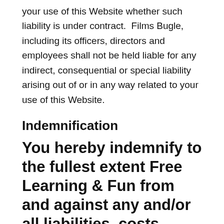your use of this Website whether such liability is under contract.  Films Bugle, including its officers, directors and employees shall not be held liable for any indirect, consequential or special liability arising out of or in any way related to your use of this Website.
Indemnification
You hereby indemnify to the fullest extent Free Learning & Fun from and against any and/or all liabilities, costs, demands, causes of action, damages and expenses